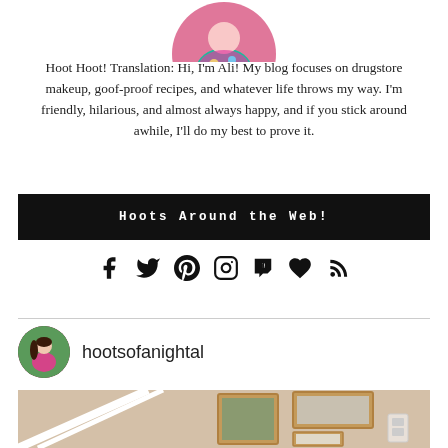[Figure (photo): Circular profile photo of a woman (Ali) wearing colorful/floral outfit, cropped at top of page]
Hoot Hoot! Translation: Hi, I'm Ali! My blog focuses on drugstore makeup, goof-proof recipes, and whatever life throws my way. I'm friendly, hilarious, and almost always happy, and if you stick around awhile, I'll do my best to prove it.
Hoots Around the Web!
[Figure (infographic): Row of social media icons: Facebook, Twitter, Pinterest, Instagram, Tumblr, heart/Bloglovin, RSS feed]
[Figure (photo): Small circular avatar of woman in pink top, used for blog profile]
hootsofanightal
[Figure (photo): Interior staircase with framed artwork on wall in neutral/tan tones]